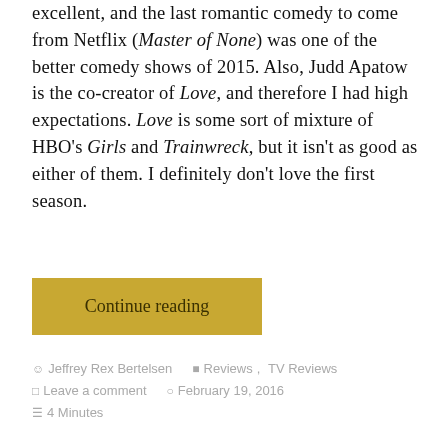excellent, and the last romantic comedy to come from Netflix (Master of None) was one of the better comedy shows of 2015. Also, Judd Apatow is the co-creator of Love, and therefore I had high expectations. Love is some sort of mixture of HBO's Girls and Trainwreck, but it isn't as good as either of them. I definitely don't love the first season.
Continue reading
Jeffrey Rex Bertelsen  Reviews, TV Reviews  Leave a comment  February 19, 2016  4 Minutes